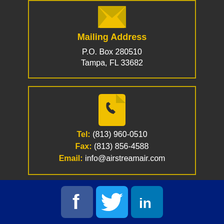[Figure (illustration): Yellow envelope icon]
Mailing Address
P.O. Box 280510
Tampa, FL 33682
[Figure (illustration): Yellow phone icon with tag]
Tel: (813) 960-0510
Fax: (813) 856-4588
Email: info@airstreamair.com
[Figure (illustration): Social media icons: Facebook, Twitter, LinkedIn]